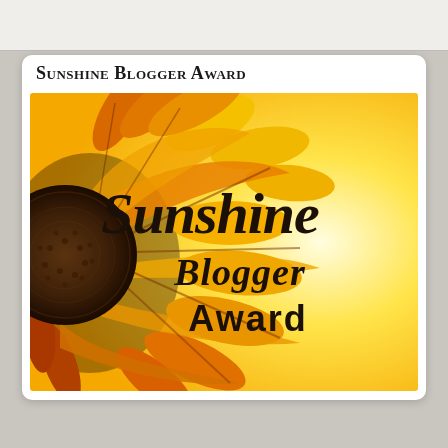Sunshine Blogger Award
[Figure (illustration): Sunshine Blogger Award image featuring a large sunflower with orange and yellow petals on the left side, against a bright yellow gradient background. Text on the right reads 'Sunshine' in large cursive font, 'Blogger' in italic cursive below it, and 'Award' in bold serif font beneath that.]